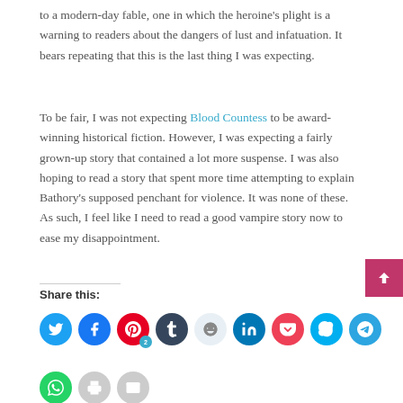to a modern-day fable, one in which the heroine's plight is a warning to readers about the dangers of lust and infatuation. It bears repeating that this is the last thing I was expecting.
To be fair, I was not expecting Blood Countess to be award-winning historical fiction. However, I was expecting a fairly grown-up story that contained a lot more suspense. I was also hoping to read a story that spent more time attempting to explain Bathory's supposed penchant for violence. It was none of these. As such, I feel like I need to read a good vampire story now to ease my disappointment.
Share this:
[Figure (infographic): Row of social media sharing buttons: Twitter (teal), Facebook (blue), Pinterest (red with badge '2'), Tumblr (dark navy), Reddit (light gray), LinkedIn (teal), Pocket (red), Skype (blue), Telegram (blue). Second row: WhatsApp (green), Print (gray), Email (gray).]